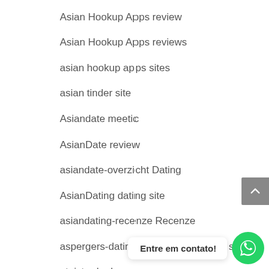Asian Hookup Apps review
Asian Hookup Apps reviews
asian hookup apps sites
asian tinder site
Asiandate meetic
AsianDate review
asiandate-overzicht Dating
AsianDating dating site
asiandating-recenze Recenze
aspergers-dating free online sites for singles
ateist-arkadas
Atheist Dating service
Entre em contato!